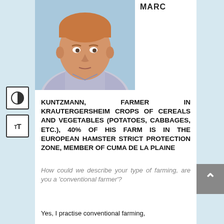MARC
[Figure (photo): Portrait photo of Marc Kuntzmann, a middle-aged man with short reddish-blond hair wearing a striped shirt, photographed outdoors with a blue sky background.]
KUNTZMANN, FARMER IN KRAUTERGERSHEIM CROPS OF CEREALS AND VEGETABLES (POTATOES, CABBAGES, ETC.), 40% OF HIS FARM IS IN THE EUROPEAN HAMSTER STRICT PROTECTION ZONE, MEMBER OF CUMA DE LA PLAINE
How could we describe your type of farming, are you a ‘conventional farmer’?
Yes, I practise conventional farming,